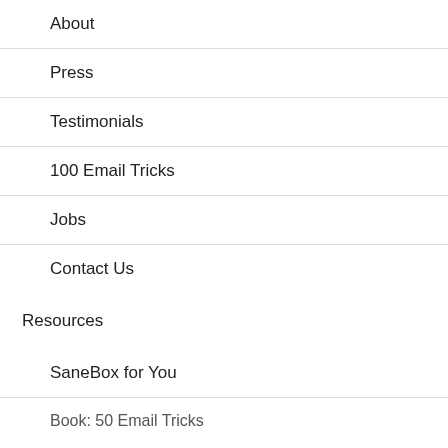About
Press
Testimonials
100 Email Tricks
Jobs
Contact Us
Resources
SaneBox for You
Book: 50 Email Tricks